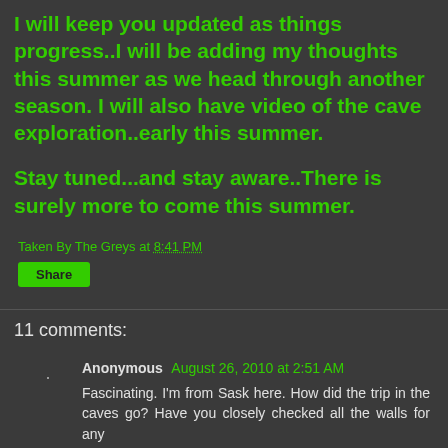I will keep you updated as things progress..I will be adding my thoughts this summer as we head through another season. I will also have video of the cave exploration..early this summer.
Stay tuned...and stay aware..There is surely more to come this summer.
Taken By The Greys at 8:41 PM
Share
11 comments:
Anonymous August 26, 2010 at 2:51 AM
Fascinating. I'm from Sask here. How did the trip in the caves go? Have you closely checked all the walls for any